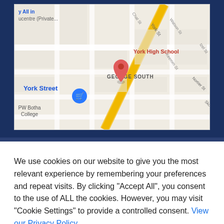[Figure (map): Google Maps screenshot showing York High School in George South, South Africa, with street labels including York St, Nortier St, Skool St, Union St, Watson St, Keerom St, and landmarks PW Botha College and a shopping cart icon for York Street.]
We use cookies on our website to give you the most relevant experience by remembering your preferences and repeat visits. By clicking "Accept All", you consent to the use of ALL the cookies. However, you may visit "Cookie Settings" to provide a controlled consent. View our Privacy Policy